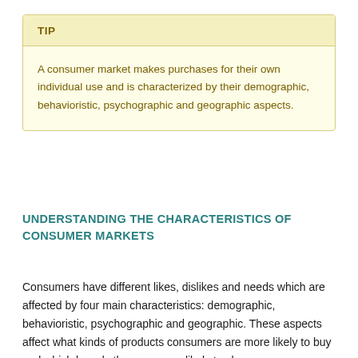TIP
A consumer market makes purchases for their own individual use and is characterized by their demographic, behavioristic, psychographic and geographic aspects.
UNDERSTANDING THE CHARACTERISTICS OF CONSUMER MARKETS
Consumers have different likes, dislikes and needs which are affected by four main characteristics: demographic, behavioristic, psychographic and geographic. These aspects affect what kinds of products consumers are more likely to buy and which brands they are more likely to choose.